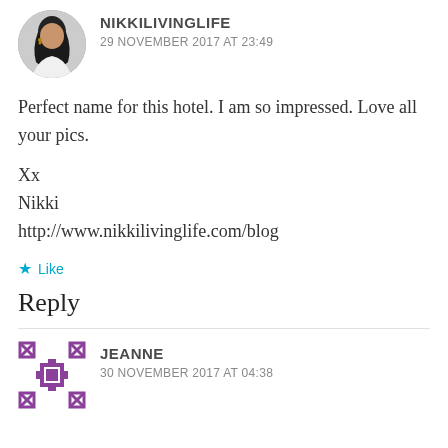NIKKILIVINGLIFE
29 NOVEMBER 2017 AT 23:49
Perfect name for this hotel. I am so impressed. Love all your pics.

Xx
Nikki
http://www.nikkilivinglife.com/blog
Like
Reply
JEANNE
30 NOVEMBER 2017 AT 04:38